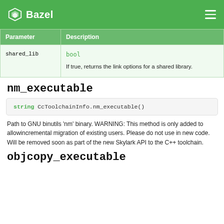Bazel
| Parameter | Description |
| --- | --- |
| shared_lib | bool

If true, returns the link options for a shared library. |
nm_executable
string CcToolchainInfo.nm_executable()
Path to GNU binutils 'nm' binary. WARNING: This method is only added to allowincremental migration of existing users. Please do not use in new code. Will be removed soon as part of the new Skylark API to the C++ toolchain.
objcopy_executable